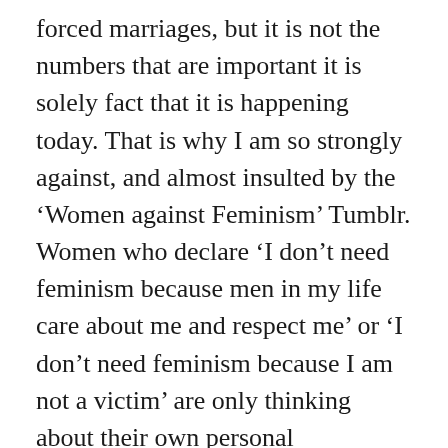forced marriages, but it is not the numbers that are important it is solely fact that it is happening today. That is why I am so strongly against, and almost insulted by the ‘Women against Feminism’ Tumblr. Women who declare ‘I don’t need feminism because men in my life care about me and respect me’ or ‘I don’t need feminism because I am not a victim’ are only thinking about their own personal circumstances. Feminism is a movement, it is not specifically for the White, western woman. It is a movement that is needed in order to continue the development of women’s rights globally whether that is to stop a man criticising a woman for having body hair, or whether it is to fight for young women being forced into marriage for the good of